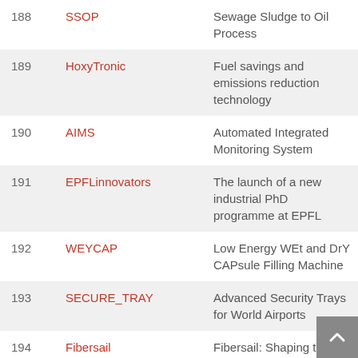| # | Name | Description |
| --- | --- | --- |
| 188 | SSOP | Sewage Sludge to Oil Process |
| 189 | HoxyTronic | Fuel savings and emissions reduction technology |
| 190 | AIMS | Automated Integrated Monitoring System |
| 191 | EPFLinnovators | The launch of a new industrial PhD programme at EPFL |
| 192 | WEYCAP | Low Energy WEt and DrY CAPsule Filling Machine |
| 193 | SECURE_TRAY | Advanced Security Trays for World Airports |
| 194 | Fibersail | Fibersail: Shaping the |